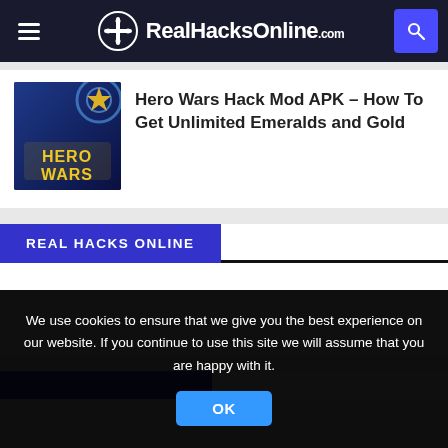RealHacksOnline.com
Hero Wars Hack Mod APK – How To Get Unlimited Emeralds and Gold
REAL HACKS ONLINE
[Figure (screenshot): Partially visible second Real Hacks Online section header]
We use cookies to ensure that we give you the best experience on our website. If you continue to use this site we will assume that you are happy with it.